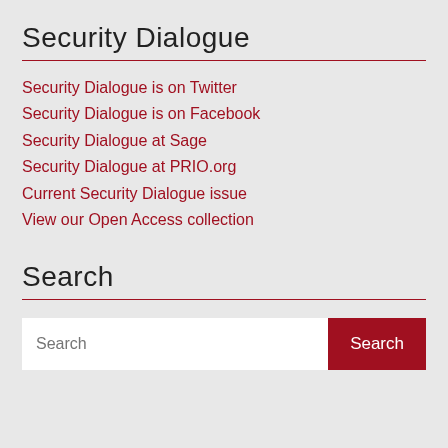Security Dialogue
Security Dialogue is on Twitter
Security Dialogue is on Facebook
Security Dialogue at Sage
Security Dialogue at PRIO.org
Current Security Dialogue issue
View our Open Access collection
Search